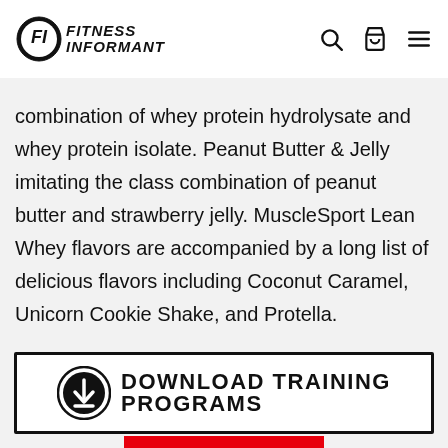Fitness Informant
combination of whey protein hydrolysate and whey protein isolate. Peanut Butter & Jelly imitating the class combination of peanut butter and strawberry jelly. MuscleSport Lean Whey flavors are accompanied by a long list of delicious flavors including Coconut Caramel, Unicorn Cookie Shake, and Protella.

MuscleSport recently reduced their price
[Figure (other): Download Training Programs banner with download icon and bold uppercase text]